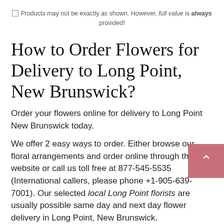Products may not be exactly as shown. However, full value is always provided!
How to Order Flowers for Delivery to Long Point, New Brunswick?
Order your flowers online for delivery to Long Point New Brunswick today.
We offer 2 easy ways to order. Either browse our floral arrangements and order online through this website or call us toll free at 877-545-5535 (International callers, please phone +1-905-639-7001). Our selected local Long Point florists are usually possible same day and next day flower delivery in Long Point, New Brunswick.
Web site is open 24 hours for online orders. Phone